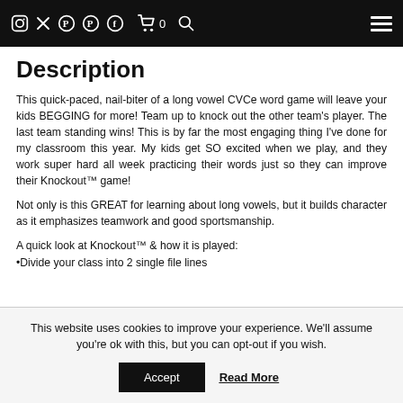Navigation bar with social icons (Instagram, Twitter, Pinterest, Facebook), cart (0), search, and hamburger menu
Description
This quick-paced, nail-biter of a long vowel CVCe word game will leave your kids BEGGING for more! Team up to knock out the other team's player. The last team standing wins! This is by far the most engaging thing I've done for my classroom this year. My kids get SO excited when we play, and they work super hard all week practicing their words just so they can improve their Knockout™ game!
Not only is this GREAT for learning about long vowels, but it builds character as it emphasizes teamwork and good sportsmanship.
A quick look at Knockout™ & how it is played:
•Divide your class into 2 single file lines
This website uses cookies to improve your experience. We'll assume you're ok with this, but you can opt-out if you wish.
Accept   Read More